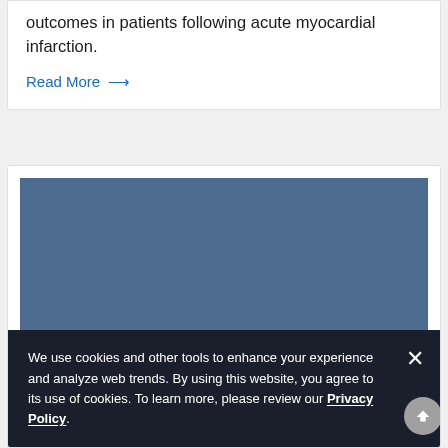outcomes in patients following acute myocardial infarction.
Read More →
[Figure (photo): Blue-toned medical/academic image block with partially visible CCOR logo text overlay]
We use cookies and other tools to enhance your experience and analyze web trends. By using this website, you agree to its use of cookies. To learn more, please review our Privacy Policy.